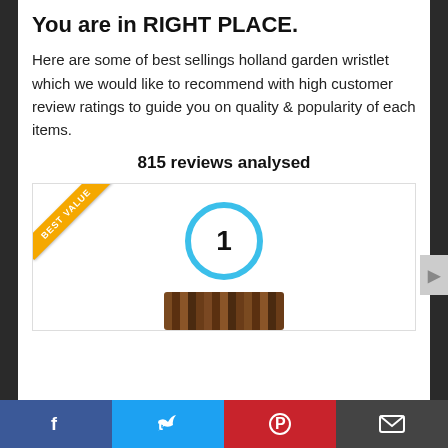You are in RIGHT PLACE.
Here are some of best sellings holland garden wristlet which we would like to recommend with high customer review ratings to guide you on quality & popularity of each items.
815 reviews analysed
[Figure (infographic): Product card with a 'BEST VALUE' golden ribbon in the top-left corner, a blue circle badge with the number 1 in the center, and a product image (wristlet bag) at the bottom center.]
Facebook | Twitter | Pinterest | Email social share bar